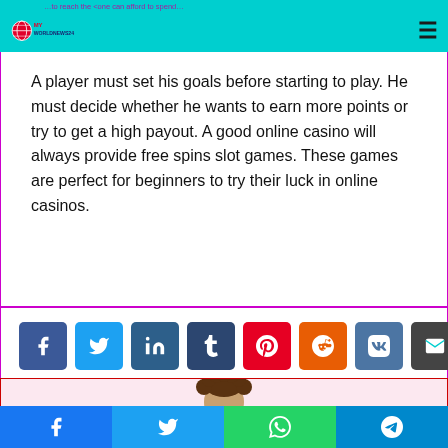MY WORLDNEWS24
A player must set his goals before starting to play. He must decide whether he wants to earn more points or try to get a high payout. A good online casino will always provide free spins slot games. These games are perfect for beginners to try their luck in online casinos.
[Figure (infographic): Row of social media share buttons: Facebook, Twitter, LinkedIn, Tumblr, Pinterest, Reddit, VK, Email, and Print]
[Figure (photo): Partial view of a person's head with curly hair at bottom of page]
Social share bar with Facebook, Twitter, WhatsApp, Telegram icons